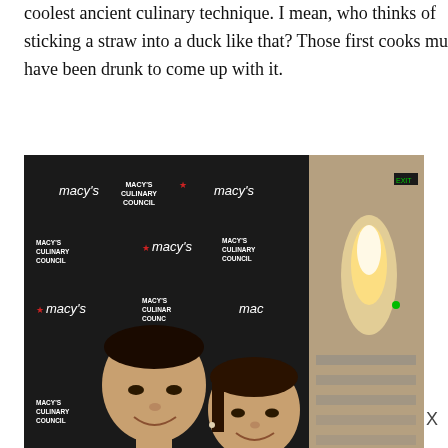coolest ancient culinary technique. I mean, who thinks of sticking a straw into a duck like that? Those first cooks must have been drunk to come up with it.
[Figure (photo): Two people posing in front of a Macy's Culinary Council branded step-and-repeat backdrop. On the left is a man in a black chef's jacket, and on the right is a woman in a black top. Behind them to the right is a lit decorative display in what appears to be a Macy's store.]